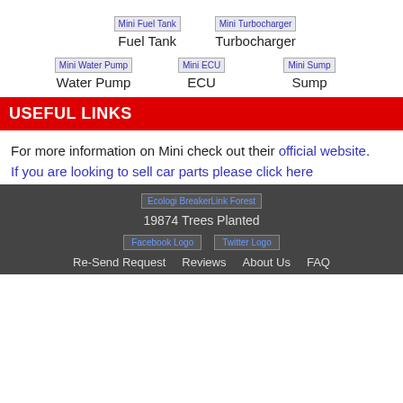[Figure (other): Mini Fuel Tank product image placeholder]
Fuel Tank
[Figure (other): Mini Turbocharger product image placeholder]
Turbocharger
[Figure (other): Mini Water Pump product image placeholder]
Water Pump
[Figure (other): Mini ECU product image placeholder]
ECU
[Figure (other): Mini Sump product image placeholder]
Sump
USEFUL LINKS
For more information on Mini check out their official website.
If you are looking to sell car parts please click here
[Figure (other): Ecologi BreakerLink Forest image]
19874 Trees Planted
[Figure (other): Facebook Logo]
[Figure (other): Twitter Logo]
Re-Send Request   Reviews   About Us   FAQ